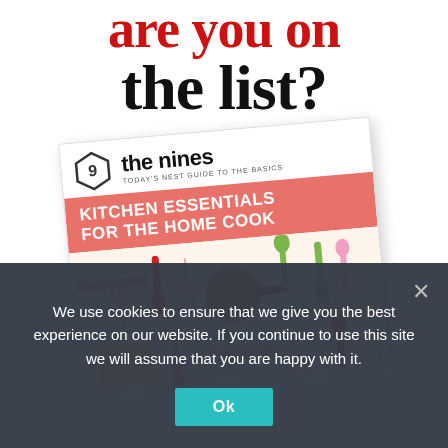are you on the list?
[Figure (illustration): A booklet cover for 'the nines - Today's Nest Guide to the Basics' featuring 'Kitchen Essentials for the Home Cook' with colorful kitchen utensils pattern (spatulas, whisks, rolling pins, pans) in red, green, yellow, pink, brown on a cream background]
We use cookies to ensure that we give you the best experience on our website. If you continue to use this site we will assume that you are happy with it.
Ok